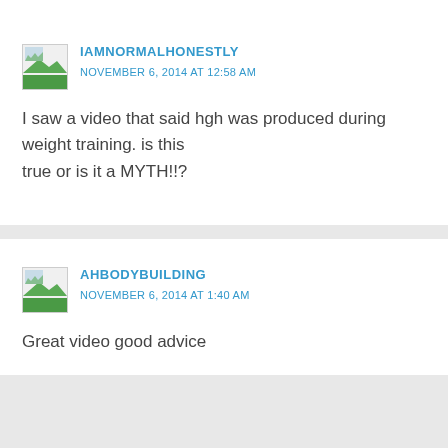IAMNORMALHONESTLY
NOVEMBER 6, 2014 AT 12:58 AM
I saw a video that said hgh was produced during weight training. is this true or is it a MYTH!!?
AHBODYBUILDING
NOVEMBER 6, 2014 AT 1:40 AM
Great video good advice